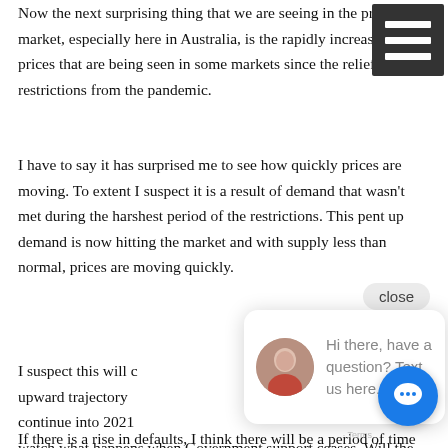Now the next surprising thing that we are seeing in the property market, especially here in Australia, is the rapidly increasing prices that are being seen in some markets since the relief of restrictions from the pandemic.
I have to say it has surprised me to see how quickly prices are moving. To extent I suspect it is a result of demand that wasn't met during the harshest period of the restrictions. This pent up demand is now hitting the market and with supply less than normal, prices are moving quickly.
I suspect this will continue on an upward trajectory for a while and continue into 2021 but I will closely watch what happens when Government support ceases. Will the banks still be accommodating those that are struggling with their mortgage?
If there is a rise in defaults, I think there will be a period of time